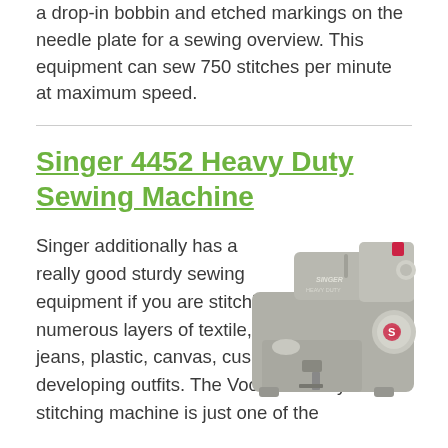a drop-in bobbin and etched markings on the needle plate for a sewing overview. This equipment can sew 750 stitches per minute at maximum speed.
Singer 4452 Heavy Duty Sewing Machine
[Figure (photo): Singer 4452 Heavy Duty Sewing Machine — gray sewing machine with red accent, large dial with S logo on the right side]
Singer additionally has a really good sturdy sewing equipment if you are stitching numerous layers of textile, jeans, plastic, canvas, cushions, draperies or developing outfits. The Vocalist sturdy 4452 stitching machine is just one of the